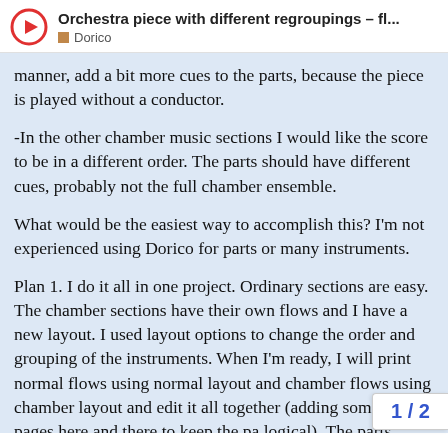Orchestra piece with different regroupings – fl... Dorico
manner, add a bit more cues to the parts, because the piece is played without a conductor.

-In the other chamber music sections I would like the score to be in a different order. The parts should have different cues, probably not the full chamber ensemble.

What would be the easiest way to accomplish this? I'm not experienced using Dorico for parts or many instruments.

Plan 1. I do it all in one project. Ordinary sections are easy. The chamber sections have their own flows and I have a new layout. I used layout options to change the order and grouping of the instruments. When I'm ready, I will print normal flows using normal layout and chamber flows using chamber layout and edit it all together (adding some extra pages here and there to keep the pa logical). The parts should be relatively eas
1 / 2